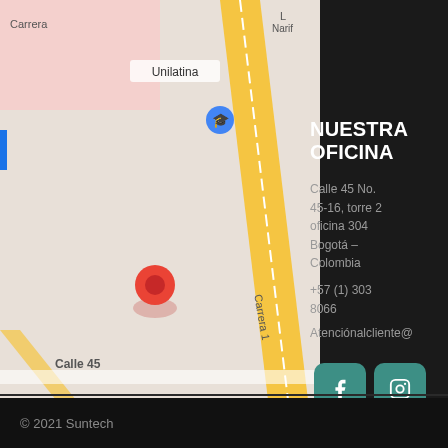[Figure (map): Google Maps screenshot showing area around Calle 45, Bogotá Colombia with markers for Unilatina and Conjunto Miramo, streets including Carrera 1, Transversal 5, Calle 45]
NUESTRA OFICINA
Calle 45 No. 45-16, torre 2 oficina 304 Bogotá – Colombia
+57 (1) 303 8066
Atenciónalcliente@
[Figure (infographic): Four social media buttons in a 2x2 grid: Facebook (f), Instagram (camera), Twitter (bird), LinkedIn (in) — all teal/green rounded square buttons]
© 2021 Suntech